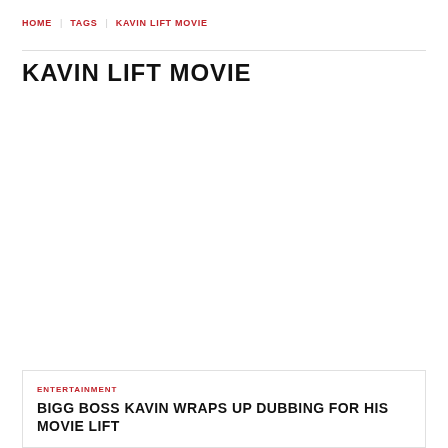HOME | TAGS | KAVIN LIFT MOVIE
KAVIN LIFT MOVIE
ENTERTAINMENT
BIGG BOSS KAVIN WRAPS UP DUBBING FOR HIS MOVIE LIFT